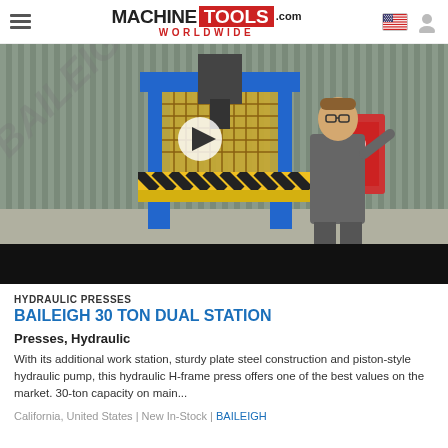MACHINE TOOLS .com WORLDWIDE
[Figure (photo): Video thumbnail showing a Baileigh hydraulic H-frame press (blue, with yellow and black safety striping on the work table) in an industrial warehouse setting. A man in grey work clothes stands next to it. A play button overlay is visible in the center of the image. The bottom portion of the thumbnail is a black bar.]
HYDRAULIC PRESSES
BAILEIGH 30 TON DUAL STATION
Presses, Hydraulic
With its additional work station, sturdy plate steel construction and piston-style hydraulic pump, this hydraulic H-frame press offers one of the best values on the market. 30-ton capacity on main...
California, United States | New In-Stock | BAILEIGH